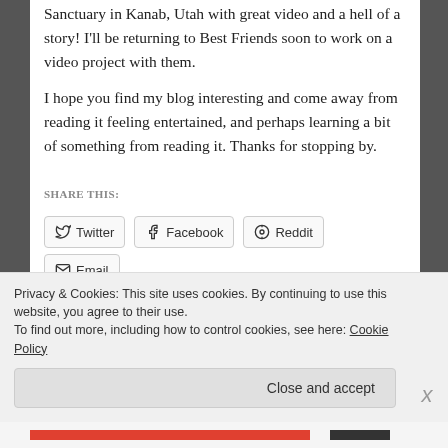Sanctuary in Kanab, Utah with great video and a hell of a story! I'll be returning to Best Friends soon to work on a video project with them.
I hope you find my blog interesting and come away from reading it feeling entertained, and perhaps learning a bit of something from reading it. Thanks for stopping by.
SHARE THIS:
Twitter
Facebook
Reddit
Email
Pinterest 2
LinkedIn
Tumblr
Privacy & Cookies: This site uses cookies. By continuing to use this website, you agree to their use.
To find out more, including how to control cookies, see here: Cookie Policy
Close and accept